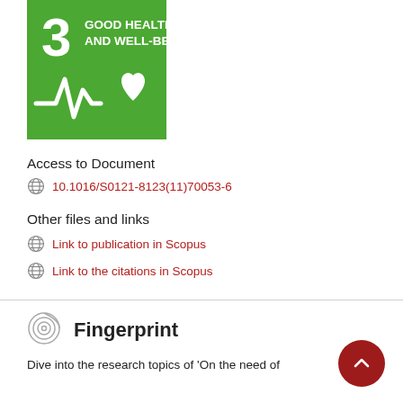[Figure (logo): UN SDG Goal 3 - Good Health and Well-Being badge. Green background with white number 3, text 'GOOD HEALTH AND WELL-BEING', and a heartbeat/ECG line with a heart icon.]
Access to Document
10.1016/S0121-8123(11)70053-6
Other files and links
Link to publication in Scopus
Link to the citations in Scopus
Fingerprint
Dive into the research topics of 'On the need of